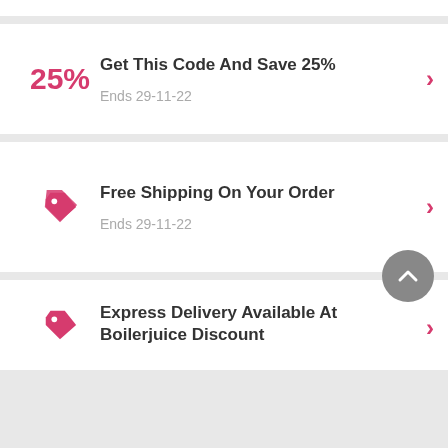Get This Code And Save 25% — Ends 29-11-22
Free Shipping On Your Order — Ends 29-11-22
Express Delivery Available At Boilerjuice Discount Code